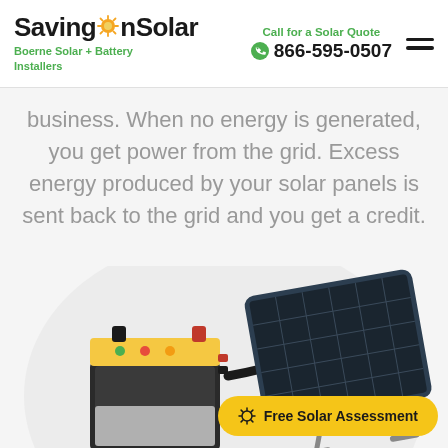SavingOnSolar — Boerne Solar + Battery Installers | Call for a Solar Quote 866-595-0507
business. When no energy is generated, you get power from the grid. Excess energy produced by your solar panels is sent back to the grid and you get a credit.
[Figure (photo): Solar panel on a metal stand connected by cable to a yellow-topped battery/inverter unit, on white background with light gray circular backdrop.]
Free Solar Assessment